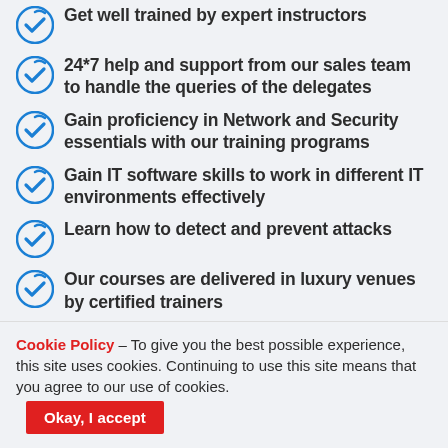Get well trained by expert instructors
24*7 help and support from our sales team to handle the queries of the delegates
Gain proficiency in Network and Security essentials with our training programs
Gain IT software skills to work in different IT environments effectively
Learn how to detect and prevent attacks
Our courses are delivered in luxury venues by certified trainers
Cookie Policy – To give you the best possible experience, this site uses cookies. Continuing to use this site means that you agree to our use of cookies. Okay, I accept